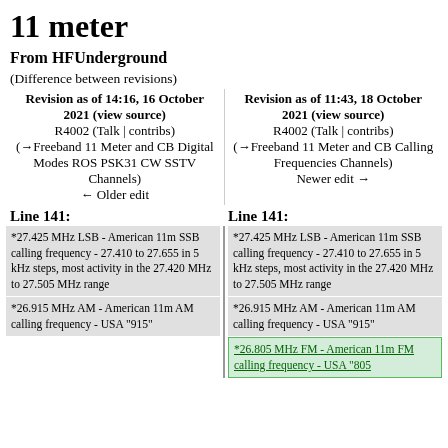11 meter
From HFUnderground
(Difference between revisions)
| Revision as of 14:16, 16 October 2021 (view source) | Revision as of 11:43, 18 October 2021 (view source) |
| --- | --- |
| R4002 (Talk | contribs) | R4002 (Talk | contribs) |
| (→Freeband 11 Meter and CB Digital Modes ROS PSK31 CW SSTV Channels) | (→Freeband 11 Meter and CB Calling Frequencies Channels) |
| ← Older edit | Newer edit → |
Line 141:	Line 141:
| Left diff | Right diff |
| --- | --- |
| *27.425 MHz LSB - American 11m SSB calling frequency - 27.410 to 27.655 in 5 kHz steps, most activity in the 27.420 MHz to 27.505 MHz range | *27.425 MHz LSB - American 11m SSB calling frequency - 27.410 to 27.655 in 5 kHz steps, most activity in the 27.420 MHz to 27.505 MHz range |
| *26.915 MHz AM - American 11m AM calling frequency - USA "915" | *26.915 MHz AM - American 11m AM calling frequency - USA "915" |
|  | *26.805 MHz FM - American 11m FM calling frequency - USA "805 |